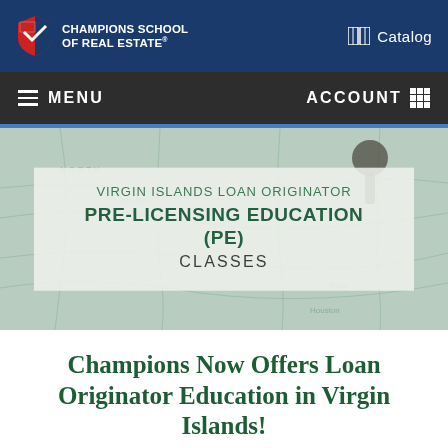Champions School of Real Estate
Catalog
MENU   ACCOUNT
[Figure (photo): Background photo of a map with a pushpin, tinted green, showing North, United, Paso, Houston labels]
VIRGIN ISLANDS LOAN ORIGINATOR PRE-LICENSING EDUCATION (PE) CLASSES
Champions Now Offers Loan Originator Education in Virgin Islands!